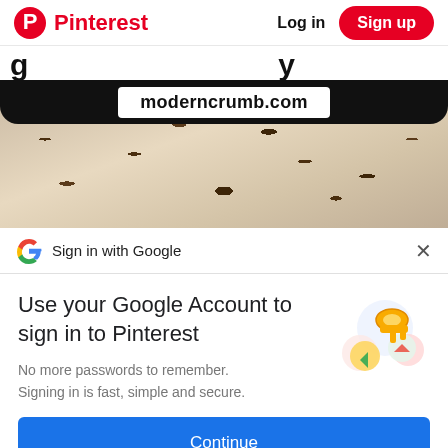Pinterest  Log in  Sign up
g…
[Figure (screenshot): Blurred image of chocolate chip cookies with a white URL badge overlay showing 'moderncrumb.com' on a black rounded top bar]
Sign in with Google
Use your Google Account to sign in to Pinterest
No more passwords to remember.
Signing in is fast, simple and secure.
[Figure (illustration): Google sign-in key illustration with colorful circles]
Continue